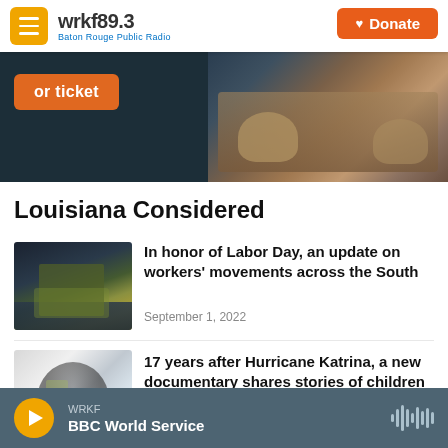wrkf89.3 Baton Rouge Public Radio — Donate
[Figure (screenshot): Partially visible promotional image with orange 'or ticket' button on dark background and hands image on right side]
Louisiana Considered
[Figure (photo): Person wearing camouflage shirt with UMWA logo at outdoor event with crowd in background]
In honor of Labor Day, an update on workers' movements across the South
September 1, 2022
[Figure (photo): Silhouette of person's head made up of collage of small images on light background, related to Hurricane Katrina documentary]
17 years after Hurricane Katrina, a new documentary shares stories of children who survived it
WRKF BBC World Service